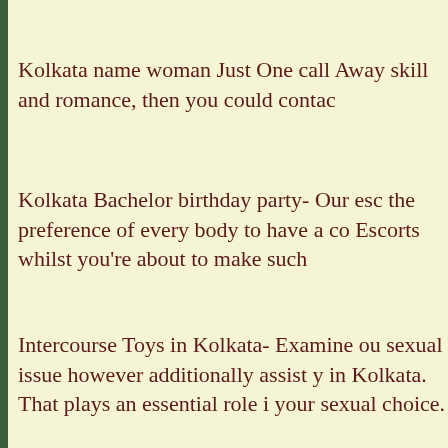Kolkata name woman Just One call Away skill and romance, then you could contac
Kolkata Bachelor birthday party- Our esc the preference of every body to have a co Escorts whilst you're about to make such
Intercourse Toys in Kolkata- Examine ou sexual issue however additionally assist y in Kolkata. That plays an essential role i your sexual choice.
Romantic Date in Kolkata- Everyone wis that romantic connection. The ultimate K dine and date. Our b are well discipline will fi